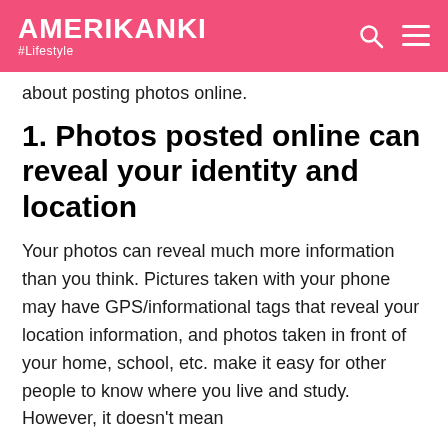AMERIKANKI #Lifestyle
about posting photos online.
1. Photos posted online can reveal your identity and location
Your photos can reveal much more information than you think. Pictures taken with your phone may have GPS/informational tags that reveal your location information, and photos taken in front of your home, school, etc. make it easy for other people to know where you live and study. However, it doesn't mean